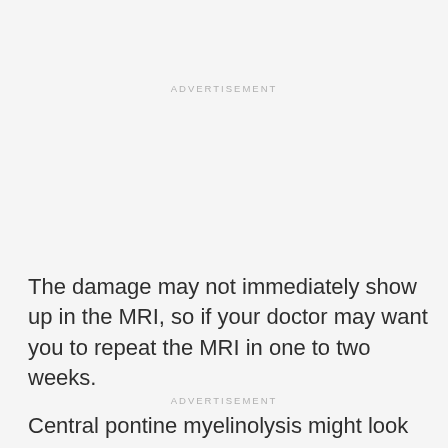ADVERTISEMENT
The damage may not immediately show up in the MRI, so if your doctor may want you to repeat the MRI in one to two weeks.
Central pontine myelinolysis might look like a number of other
ADVERTISEMENT